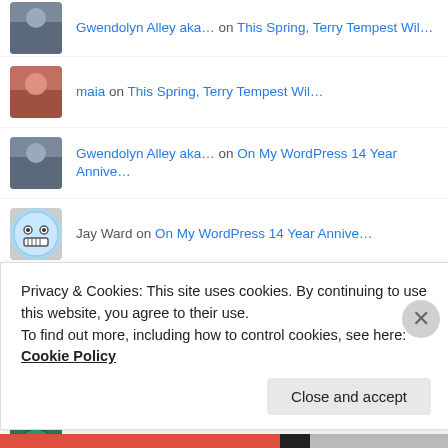Gwendolyn Alley aka… on This Spring, Terry Tempest Wil…
maia on This Spring, Terry Tempest Wil…
Gwendolyn Alley aka… on On My WordPress 14 Year Annive…
Jay Ward on On My WordPress 14 Year Annive…
Gwendolyn Alley aka… on Wild Weather Cancels Daughters…
Gwendolyn Alley aka… on Retail Slut Makes Over LA…
Diane Von Heyneman on Retail Slut Makes Over LA…
Diane Von Heyneman on Wild Weather Cancels Daughters…
Privacy & Cookies: This site uses cookies. By continuing to use this website, you agree to their use.
To find out more, including how to control cookies, see here: Cookie Policy
Close and accept